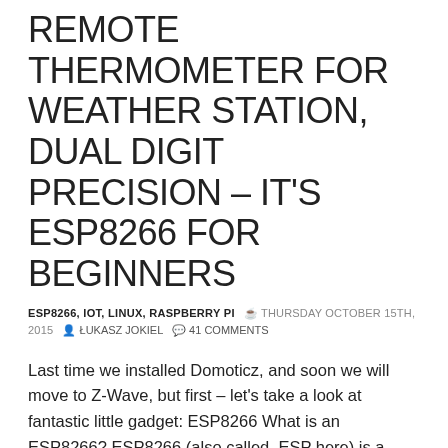REMOTE THERMOMETER FOR WEATHER STATION, DUAL DIGIT PRECISION – IT'S ESP8266 FOR BEGINNERS
ESP8266, IOT, LINUX, RASPBERRY PI   THURSDAY OCTOBER 15TH, 2015   ŁUKASZ JOKIEL   41 COMMENTS
Last time we installed Domoticz, and soon we will move to Z-Wave, but first – let's take a look at fantastic little gadget: ESP8266 What is an ESP8266? ESP8266 (also called  ESP here) is a SoC – System on a Chip, which in our case is – CPU/RAM/FLASH with GPIO and WiFi interface – so another mini komputer with wireless interface. You can think of it as scaled down version of Raspberry Pi, less power hungry, but with own WLAN and a lot (minimum 2)...